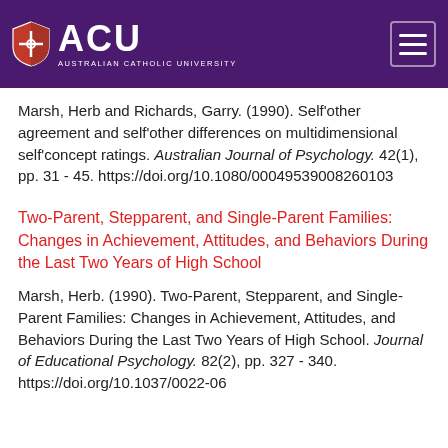ACU — Australian Catholic University
Marsh, Herb and Richards, Garry. (1990). Self'other agreement and self'other differences on multidimensional self'concept ratings. Australian Journal of Psychology. 42(1), pp. 31 - 45. https://doi.org/10.1080/00049539008260103
Two-Parent, Stepparent, and Single-Parent Families: Changes in Achievement, Attitudes, and Behaviors During the Last Two Years of High School
Marsh, Herb. (1990). Two-Parent, Stepparent, and Single-Parent Families: Changes in Achievement, Attitudes, and Behaviors During the Last Two Years of High School. Journal of Educational Psychology. 82(2), pp. 327 - 340. https://doi.org/10.1037/0022-06